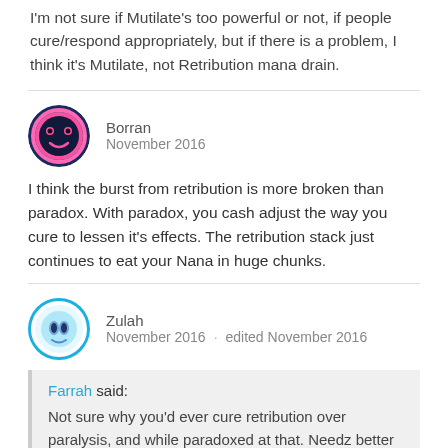I'm not sure if Mutilate's too powerful or not, if people cure/respond appropriately, but if there is a problem, I think it's Mutilate, not Retribution mana drain.
Borran
November 2016
I think the burst from retribution is more broken than paradox.  With paradox, you cash adjust the way you cure to lessen it's effects. The retribution stack just continues to eat your Nana in huge chunks.
Zulah
November 2016   edited November 2016
Farrah said:
Not sure why you'd ever cure retribution over paralysis, and while paradoxed at that. Needz better curing.